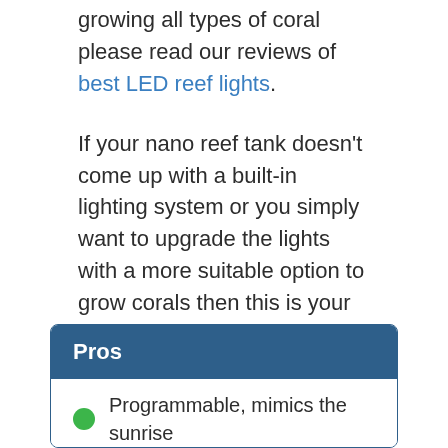growing all types of coral please read our reviews of best LED reef lights.
If your nano reef tank doesn't come up with a built-in lighting system or you simply want to upgrade the lights with a more suitable option to grow corals then this is your best option.
Fluval Sea Marine Nano LED light works best with square shape tanks and comes with over-the-glass mounting design with secure grip.
| Pros |
| --- |
| Programmable, mimics the sunrise |